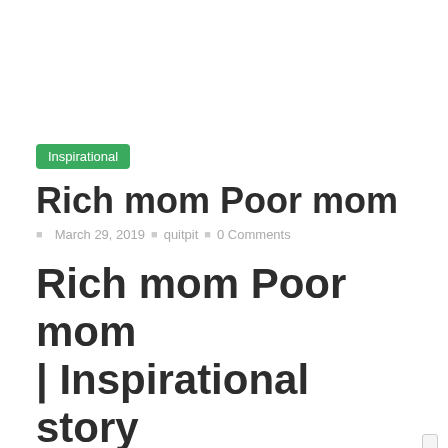Inspirational
Rich mom Poor mom
March 29, 2019  quitpit  0 Comments
Rich mom Poor mom | Inspirational story
A short story of conversation between rich mom poor mom.